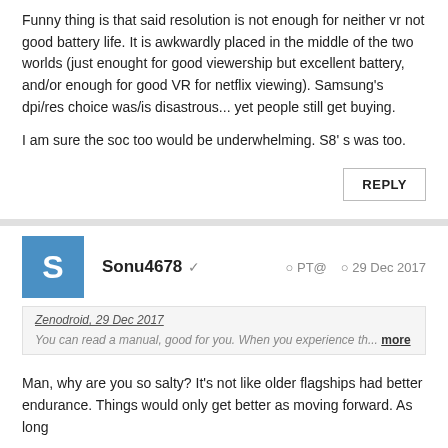Funny thing is that said resolution is not enough for neither vr not good battery life. It is awkwardly placed in the middle of the two worlds (just enought for good viewership but excellent battery, and/or enough for good VR for netflix viewing). Samsung's dpi/res choice was/is disastrous... yet people still get buying.

I am sure the soc too would be underwhelming. S8' s was too.
REPLY
Sonu4678 ✓   PT@   29 Dec 2017
Zenodroid, 29 Dec 2017
You can read a manual, good for you. When you experience th... more
Man, why are you so salty? It's not like older flagships had better endurance. Things would only get better as moving forward. As long